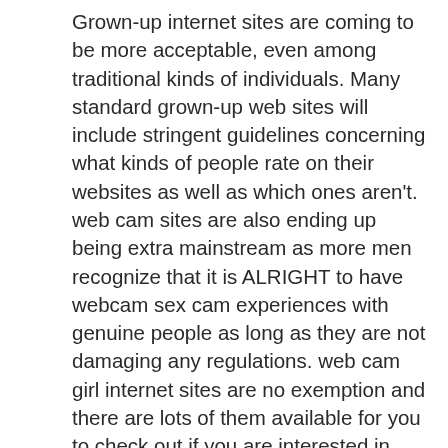Grown-up internet sites are coming to be more acceptable, even among traditional kinds of individuals. Many standard grown-up web sites will include stringent guidelines concerning what kinds of people rate on their websites as well as which ones aren't. web cam sites are also ending up being extra mainstream as more men recognize that it is ALRIGHT to have webcam sex cam experiences with genuine people as long as they are not damaging any regulations. web cam girl internet sites are no exemption and there are lots of them available for you to check out if you are interested in having sex with cam versions.